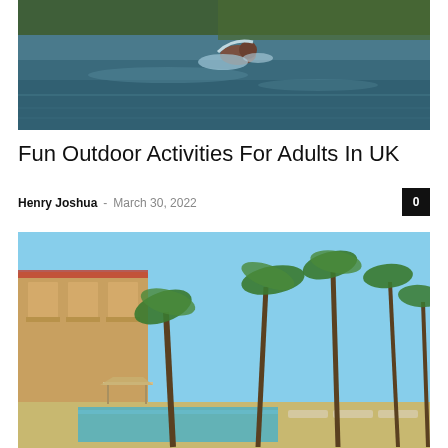[Figure (photo): Person swimming in open water with splashing, trees and water in background]
Fun Outdoor Activities For Adults In UK
Henry Joshua – March 30, 2022
[Figure (photo): Tropical resort with palm trees, pool, and warm-toned buildings under blue sky]